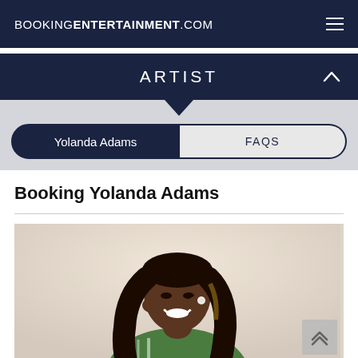BOOKINGENTERTAINMENT.COM
ARTIST
Yolanda Adams | FAQS
Booking Yolanda Adams
[Figure (photo): Portrait photo of Yolanda Adams smiling, wearing a green striped top, with long dark hair, hands near her face]